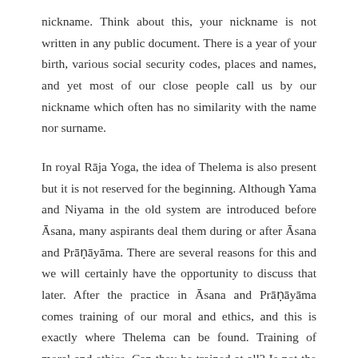nickname. Think about this, your nickname is not written in any public document. There is a year of your birth, various social security codes, places and names, and yet most of our close people call us by our nickname which often has no similarity with the name nor surname.
In royal Rāja Yoga, the idea of Thelema is also present but it is not reserved for the beginning. Although Yama and Niyama in the old system are introduced before Āsana, many aspirants deal them during or after Āsana and Prāṇāyāma. There are several reasons for this and we will certainly have the opportunity to discuss that later. After the practice in Āsana and Prāṇāyāma comes training of our moral and ethics, and this is exactly where Thelema can be found. Training of moral and ethics. Can they be trained at all? Is not the way of Thelema in their release to rape